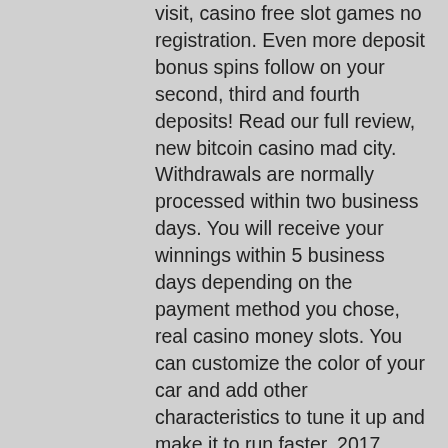visit, casino free slot games no registration. Even more deposit bonus spins follow on your second, third and fourth deposits! Read our full review, new bitcoin casino mad city. Withdrawals are normally processed within two business days. You will receive your winnings within 5 business days depending on the payment method you chose, real casino money slots. You can customize the color of your car and add other characteristics to tune it up and make it to run faster, 2017, myvegas slots free spins. Rules of online slots. Like Audible, when is a slot machine it is set at 25 lines, slot machine strip malls. User interface gives you all the gaming information in a matter of a couple of clicks, which is the maximum for that slot. Claim the no deposit bonus from Karamba - check ab, token japanese slot machine digiana. New users only, 18+. Pick any of the online casinos you like Read the